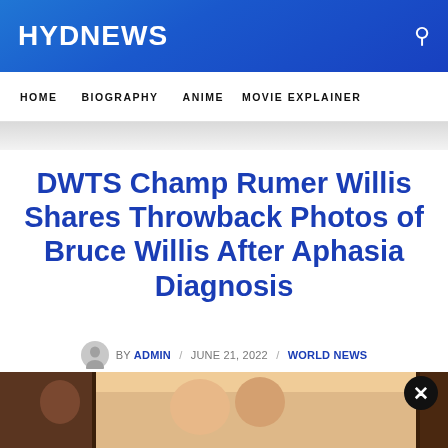HYDNEWS
HOME   BIOGRAPHY   ANIME   MOVIE EXPLAINER
DWTS Champ Rumer Willis Shares Throwback Photos of Bruce Willis After Aphasia Diagnosis
BY ADMIN / JUNE 21, 2022 / WORLD NEWS
[Figure (photo): Partial photo strip showing people, cropped at bottom of page]